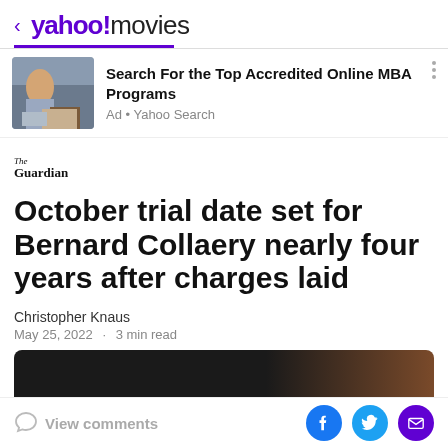< yahoo!movies
[Figure (screenshot): Advertisement banner showing two people at desks with laptops, for MBA programs]
Search For the Top Accredited Online MBA Programs
Ad • Yahoo Search
[Figure (logo): The Guardian logo]
October trial date set for Bernard Collaery nearly four years after charges laid
Christopher Knaus
May 25, 2022 · 3 min read
[Figure (photo): Partially visible article photo, dark background]
View comments